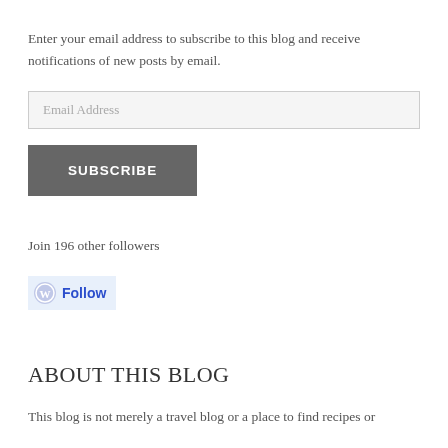Enter your email address to subscribe to this blog and receive notifications of new posts by email.
Email Address
SUBSCRIBE
Join 196 other followers
[Figure (other): WordPress Follow button with WordPress icon and blue 'Follow' text on light blue background]
ABOUT THIS BLOG
This blog is not merely a travel blog or a place to find recipes or